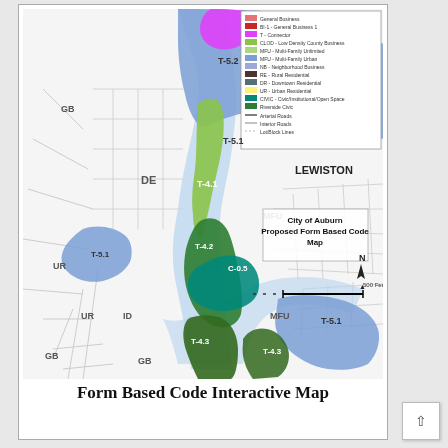[Figure (map): City of Auburn Proposed Form Based Code Map showing zoning districts including T-5.2, T-5.1, T-4.1, T-4.2, T-4.3, C-0.5, MFU, DE, UR, GB, ID zones along a river corridor. Legend in upper right shows color-coded zone types. North arrow and scale bar included. Lewiston labeled across the river.]
Form Based Code Interactive Map